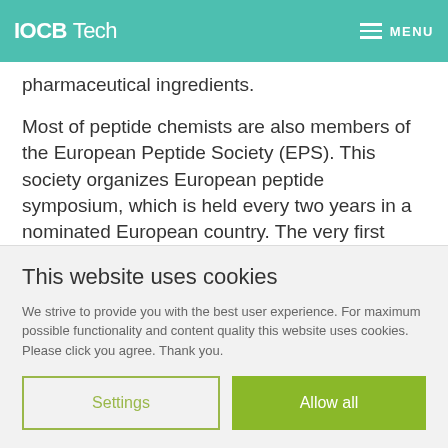IOCB Tech | MENU
pharmaceutical ingredients.
Most of peptide chemists are also members of the European Peptide Society (EPS). This society organizes European peptide symposium, which is held every two years in a nominated European country. The very first EPS was organized by Prof. Josef Rudinger in Prague in 1958 and tradition of these large meetings is maintained till the present days. European Peptide Society is awarding
This website uses cookies
We strive to provide you with the best user experience. For maximum possible functionality and content quality this website uses cookies. Please click you agree. Thank you.
Settings
Allow all